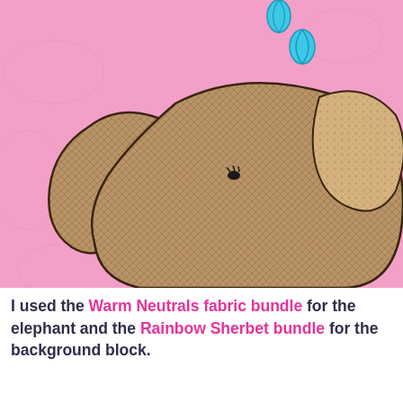[Figure (photo): Close-up photo of a fabric quilt block featuring an elephant appliqué made from brown tweed/crosshatch patterned fabric on a pink background. The elephant's trunk is raised upward with two blue teardrop water droplets above it. The elephant's ear is a lighter tan fabric with a red grid pattern. The background is soft pink with subtle quilted swirl stitching visible.]
I used the Warm Neutrals fabric bundle for the elephant and the Rainbow Sherbet bundle for the background block.